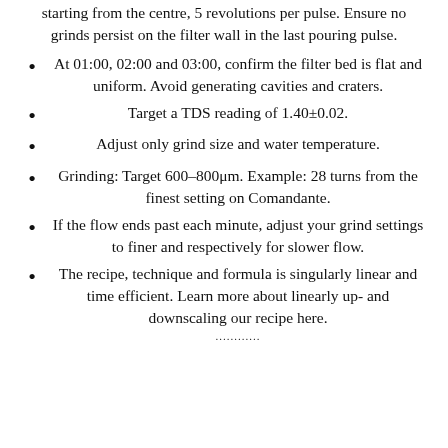starting from the centre, 5 revolutions per pulse. Ensure no grinds persist on the filter wall in the last pouring pulse.
At 01:00, 02:00 and 03:00, confirm the filter bed is flat and uniform. Avoid generating cavities and craters.
Target a TDS reading of 1.40±0.02.
Adjust only grind size and water temperature.
Grinding: Target 600–800μm. Example: 28 turns from the finest setting on Comandante.
If the flow ends past each minute, adjust your grind settings to finer and respectively for slower flow.
The recipe, technique and formula is singularly linear and time efficient. Learn more about linearly up- and downscaling our recipe here.